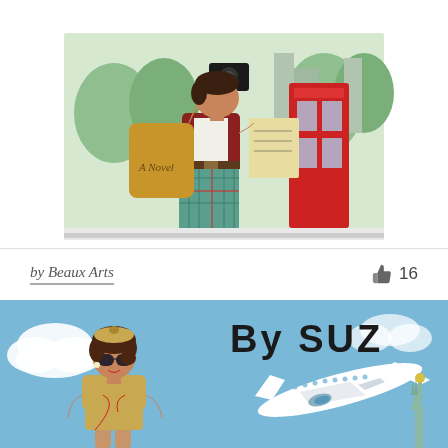[Figure (illustration): Top portion of a book cover illustration showing a woman tourist with camera, handbag labeled 'A Novel', map, wearing plaid skirt, standing near a red phone booth with cityscape background]
by Beaux Arts
16
[Figure (illustration): Book cover illustration 'By SUZ' showing a retro-style female flight attendant in tan uniform with red scarf and sunglasses, making OK gesture, with a white airplane flying overhead and the Statue of Liberty partially visible, against a blue sky with clouds]